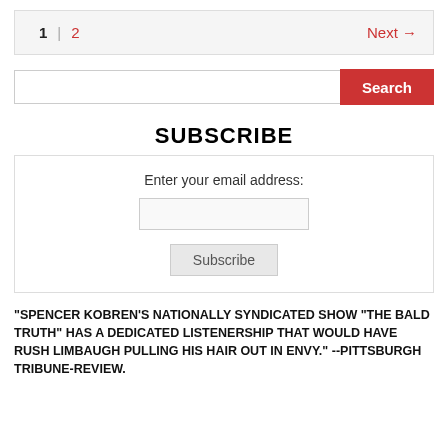1  |  2    Next →
[Figure (screenshot): Search bar with text input field and red Search button]
SUBSCRIBE
[Figure (screenshot): Subscribe widget with email address input field and Subscribe button]
"SPENCER KOBREN'S NATIONALLY SYNDICATED SHOW "THE BALD TRUTH" HAS A DEDICATED LISTENERSHIP THAT WOULD HAVE RUSH LIMBAUGH PULLING HIS HAIR OUT IN ENVY." --PITTSBURGH TRIBUNE-REVIEW.